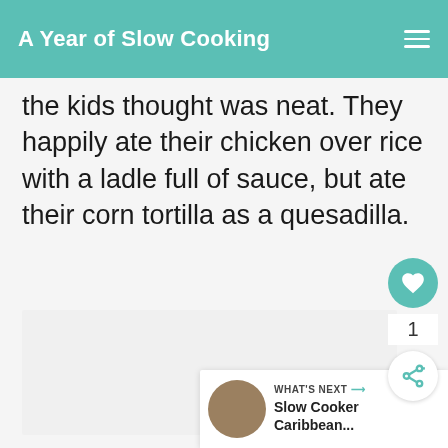A Year of Slow Cooking
the kids thought was neat. They happily ate their chicken over rice with a ladle full of sauce, but ate their corn tortilla as a quesadilla.
[Figure (photo): Food/recipe image placeholder (light gray background)]
1
WHAT'S NEXT → Slow Cooker Caribbean...